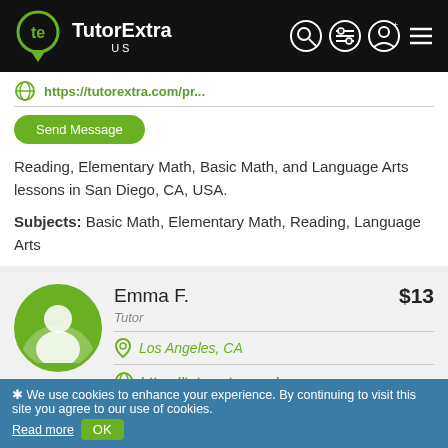[Figure (logo): TutorExtra US logo on black header bar with navigation icons]
https://tutorextra.com/pr...
Send Message
Reading, Elementary Math, Basic Math, and Language Arts lessons in San Diego, CA, USA.
Subjects: Basic Math, Elementary Math, Reading, Language Arts
[Figure (photo): Green circular avatar placeholder for tutor Emma F.]
Emma F.    $13
Tutor
Los Angeles, CA
https://tutorextra.com/pr...
✱ We use cookies to enhance your experience. By continuing to visit this site you agree to our use of cookies. Read more  OK